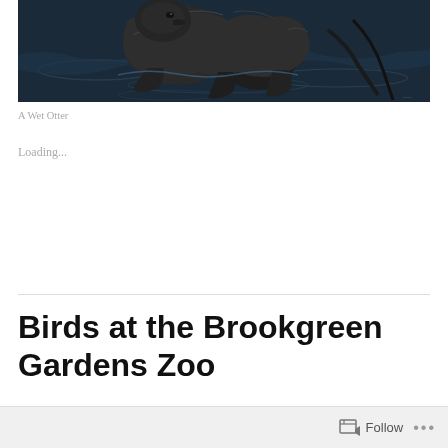[Figure (photo): A wet otter standing in dark water, shot from close range showing its wet fur and body.]
A Wet Otter
Loading...
Birds at the Brookgreen Gardens Zoo
Follow ...